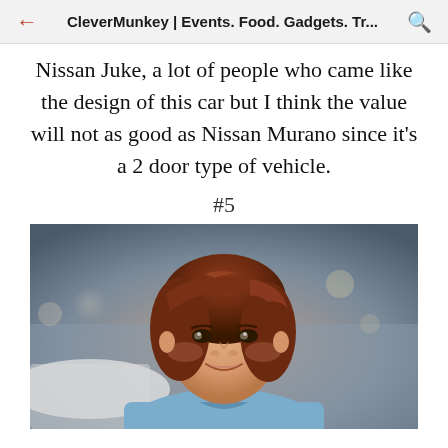CleverMunkey | Events. Food. Gadgets. Tr...
Nissan Juke, a lot of people who came like the design of this car but I think the value will not as good as Nissan Murano since it's a 2 door type of vehicle.
#5
[Figure (photo): A young woman with a short reddish-brown bob haircut smiling at the camera, appearing to be at a car show, with a white car visible in the background.]